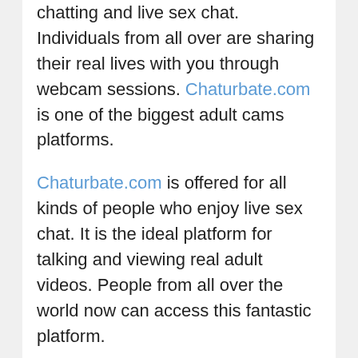chatting and live sex chat. Individuals from all over are sharing their real lives with you through webcam sessions. Chaturbate.com is one of the biggest adult cams platforms.
Chaturbate.com is offered for all kinds of people who enjoy live sex chat. It is the ideal platform for talking and viewing real adult videos. People from all over the world now can access this fantastic platform.
Chaturbate.com is the very best place for online live sex chat. The best aspect of this